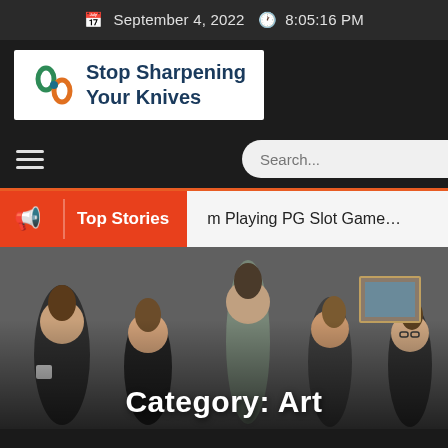September 4, 2022  8:05:16 PM
[Figure (logo): Stop Sharpening Your Knives website logo with infinity-knot icon and bold teal text]
[Figure (screenshot): Navigation bar with hamburger menu and search box]
Top Stories   m Playing PG Slot Game...
[Figure (photo): Group of young people in a room, darkened photo used as hero image background]
Category: Art